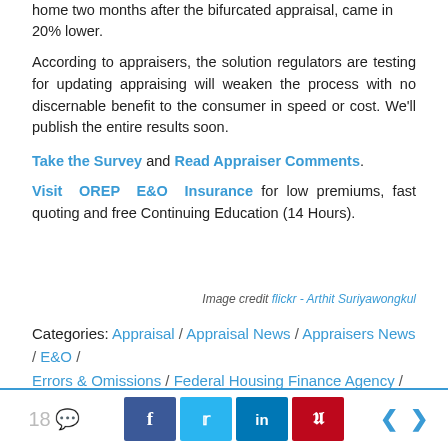home two months after the bifurcated appraisal, came in 20% lower.
According to appraisers, the solution regulators are testing for updating appraising will weaken the process with no discernable benefit to the consumer in speed or cost. We'll publish the entire results soon.
Take the Survey and Read Appraiser Comments.
Visit OREP E&O Insurance for low premiums, fast quoting and free Continuing Education (14 Hours).
Image credit flickr - Arthit Suriyawongkul
Categories: Appraisal / Appraisal News / Appraisers News / E&O / Errors & Omissions / Federal Housing Finance Agency / FHFA / Trending
Tags: appraisal fees  appraisal news  E&O  Errors & Omissions
18 [comments] [Facebook] [Twitter] [LinkedIn] [Pinterest] [prev] [next]